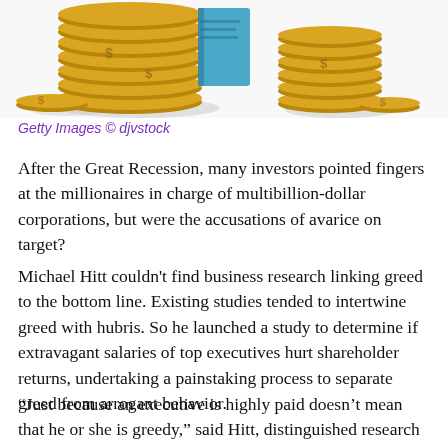[Figure (illustration): Illustration of stacked gold coins with a small blue book or object in the background, on a light gray surface.]
Getty Images © djvstock
After the Great Recession, many investors pointed fingers at the millionaires in charge of multibillion-dollar corporations, but were the accusations of avarice on target?
Michael Hitt couldn't find business research linking greed to the bottom line. Existing studies tended to intertwine greed with hubris. So he launched a study to determine if extravagant salaries of top executives hurt shareholder returns, undertaking a painstaking process to separate greed from arrogant behavior.
“Just because an executive is highly paid doesn’t mean that he or she is greedy,” said Hitt, distinguished research fellow in management, entrepreneurship and